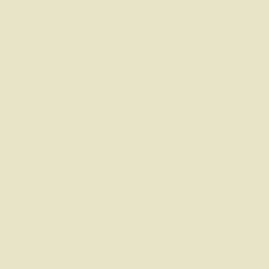Wicked Willow
1 The Darkening (2004)
2 Shattered Twilight (2004)
3 Broken Sunrise (2004)
Wicked Willow Omnibus (2004) [O]
2 Angel
12 A.M.: Generous Presence (2002) [SF]
3 A.M.: Icicle Memories (2002) [SF]
Dark Redemption
1 Highborn (2010)